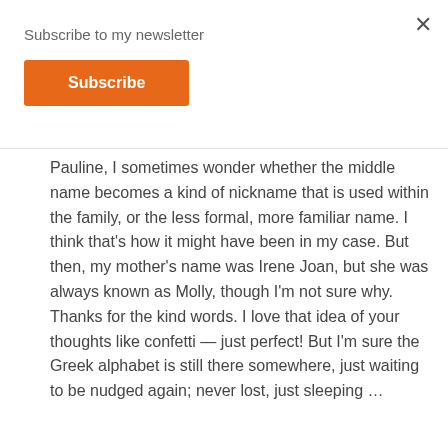Subscribe to my newsletter
Subscribe
Pauline, I sometimes wonder whether the middle name becomes a kind of nickname that is used within the family, or the less formal, more familiar name. I think that’s how it might have been in my case. But then, my mother’s name was Irene Joan, but she was always known as Molly, though I’m not sure why.
Thanks for the kind words. I love that idea of your thoughts like confetti — just perfect! But I’m sure the Greek alphabet is still there somewhere, just waiting to be nudged again; never lost, just sleeping …